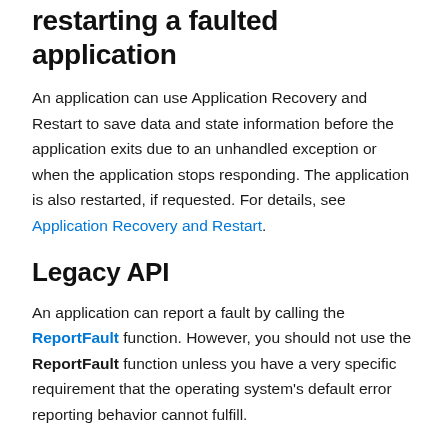restarting a faulted application
An application can use Application Recovery and Restart to save data and state information before the application exits due to an unhandled exception or when the application stops responding. The application is also restarted, if requested. For details, see Application Recovery and Restart.
Legacy API
An application can report a fault by calling the ReportFault function. However, you should not use the ReportFault function unless you have a very specific requirement that the operating system's default error reporting behavior cannot fulfill.
If error reporting is enabled, the system displays a dialog box to the user indicating that the application has encountered a problem and will close. If there is a debugger